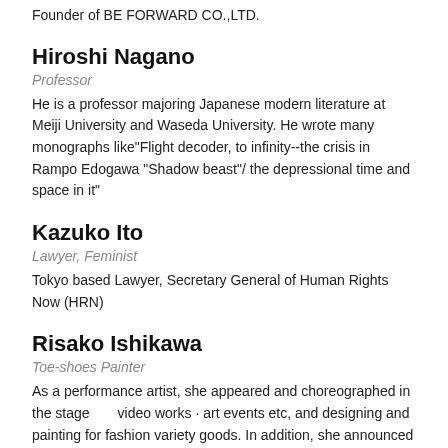Founder of BE FORWARD CO.,LTD.
Hiroshi Nagano
Professor
He is a professor majoring Japanese modern literature at Meiji University and Waseda University. He wrote many monographs like"Flight decoder, to infinity--the crisis in Rampo Edogawa "Shadow beast"/ the depressional time and space in it"
Kazuko Ito
Lawyer, Feminist
Tokyo based Lawyer, Secretary General of Human Rights Now (HRN)
Risako Ishikawa
Toe-shoes Painter
As a performance artist, she appeared and choreographed in the stage　　video works · art events etc, and designing and painting for fashion variety goods. In addition, she announced the performance that draws a picture with a toe shoe while dancing. She find joy in combining shapes, colors, and sou…